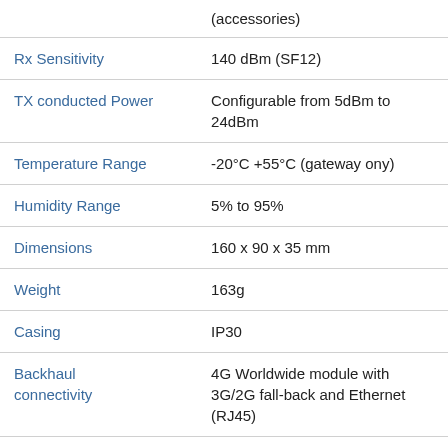| Feature | Value |
| --- | --- |
|  | (accessories) |
| Rx Sensitivity | 140 dBm (SF12) |
| TX conducted Power | Configurable from 5dBm to 24dBm |
| Temperature Range | -20°C +55°C (gateway ony) |
| Humidity Range | 5% to 95% |
| Dimensions | 160 x 90 x 35 mm |
| Weight | 163g |
| Casing | IP30 |
| Backhaul connectivity | 4G Worldwide module with 3G/2G fall-back and Ethernet (RJ45) |